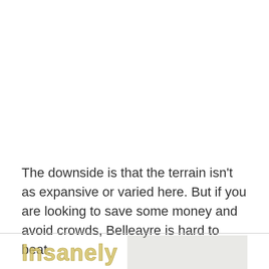The downside is that the terrain isn't as expansive or varied here. But if you are looking to save some money and avoid crowds, Belleayre is hard to beat.
[Figure (illustration): Partial view of a stylized logo or heading with text 'Insanely' in yellow/gold bold lettering, with a snowy or outdoor scene image on the right side, partially cropped at the bottom of the page.]